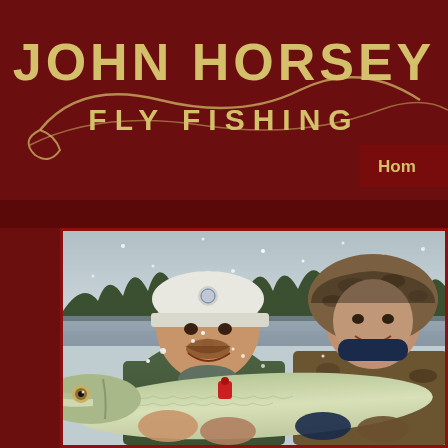JOHN HORSEY FLY FISHING
Hom
[Figure (photo): Two men outdoors in winter snowy conditions holding a large pike or muskie fish. The man on the left wears a white baseball cap and green jacket, the man on the right wears a camouflage hooded jacket. A large freshwater fish with a long snout is held between them. Trees and a lake are visible in the background.]